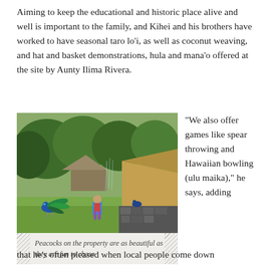Aiming to keep the educational and historic place alive and well is important to the family, and Kihei and his brothers have worked to have seasonal taro lo'i, as well as coconut weaving, and hat and basket demonstrations, hula and mana'o offered at the site by Aunty Ilima Rivera.
[Figure (photo): Outdoor scene at a Hawaiian historical site showing a child in a blue jacket walking toward a thatched-roof structure on the right, a peacock on the grass to the left, lush green tropical trees and a traditional hut in the background.]
Peacocks on the property are as beautiful as they are fun to chase
"We also offer games like spear throwing and Hawaiian bowling (ulu maika)," he says, adding that he's often pleased when local people come down